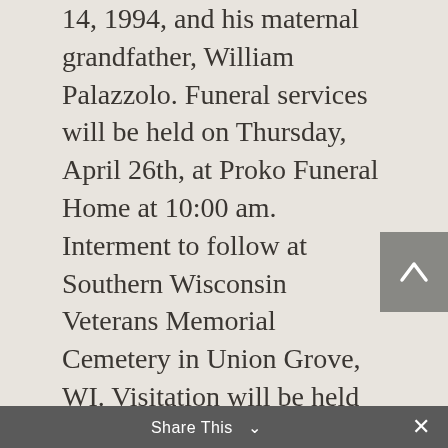14, 1994, and his maternal grandfather, William Palazzolo. Funeral services will be held on Thursday, April 26th, at Proko Funeral Home at 10:00 am. Interment to follow at Southern Wisconsin Veterans Memorial Cemetery in Union Grove, WI. Visitation will be held on Wednesday at Proko Funeral Home from 2:00 pm until 8:00 pm. Proko Funeral Home & Crematory 5111-60th Street Kenosha, WI 53144 Phone: (262) 654-3533
Share This ∨ ×